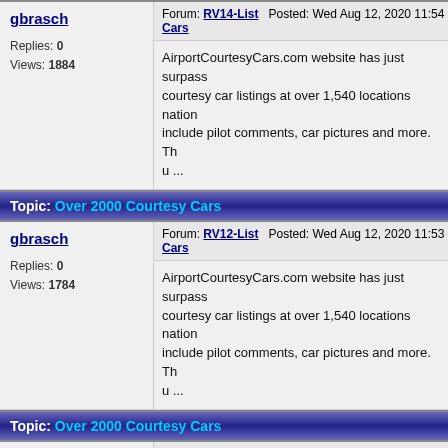gbrasch - Forum: RV14-List Posted: Wed Aug 12, 2020 11:54 am Subj... Cars, Replies: 0, Views: 1884, AirportCourtesyCars.com website has just surpass... courtesy car listings at over 1,540 locations nation... include pilot comments, car pictures and more. Th... u ...
Topic: Over 2000 Courtesy Cars
gbrasch - Forum: RV12-List Posted: Wed Aug 12, 2020 11:53 am Subj... Cars, Replies: 0, Views: 1784, AirportCourtesyCars.com website has just surpass... courtesy car listings at over 1,540 locations nation... include pilot comments, car pictures and more. Th... u ...
Topic: Over 2000 Courtesy Cars
gbrasch - Forum: RV10-List Posted: Wed Aug 12, 2020 11:53 am Subj... Cars, Replies: 0, Views: 1791, AirportCourtesyCars.com website has just surpass... courtesy car listings at over 1,540 locations nation... include pilot comments, car pictures and more. Th... u ...
Topic: Over 2000 Courtesy Cars
gbrasch - Forum: RV9-List Posted: Wed Aug 12, 2020 11:52 am Subje... Cars